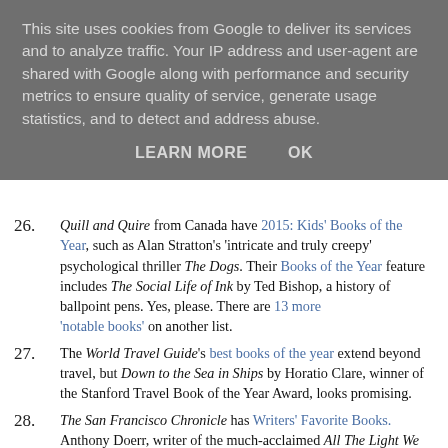This site uses cookies from Google to deliver its services and to analyze traffic. Your IP address and user-agent are shared with Google along with performance and security metrics to ensure quality of service, generate usage statistics, and to detect and address abuse.
LEARN MORE   OK
26. Quill and Quire from Canada have 2015: Kids' Books of the Year, such as Alan Stratton's 'intricate and truly creepy' psychological thriller The Dogs. Their Books of the Year feature includes The Social Life of Ink by Ted Bishop, a history of ballpoint pens. Yes, please. There are 13 more 'notable books' on another list.
27. The World Travel Guide's best books of the year extend beyond travel, but Down to the Sea in Ships by Horatio Clare, winner of the Stanford Travel Book of the Year Award, looks promising.
28. The San Francisco Chronicle has Writers' Favorite Books. Anthony Doerr, writer of the much-acclaimed All The Light We Cannot See, recommends Jim Shepherd's The Book of Aron, calling it 'distressing, moving, absorbing' and more besides.
29. Atlantic Magazine has The Best Book I Read in 2015. Lauren Cassani Davis goes back to an earlier book by the late Oliver Sacks, An